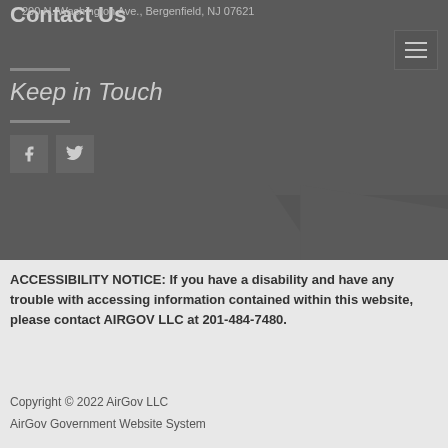Contact Us
200 N. Washington Ave., Bergenfield, NJ 07621
Keep in Touch
[Figure (other): Social media icons: Facebook and Twitter buttons]
ACCESSIBILITY NOTICE: If you have a disability and have any trouble with accessing information contained within this website, please contact AIRGOV LLC at 201-484-7480.
Copyright © 2022 AirGov LLC
AirGov Government Website System